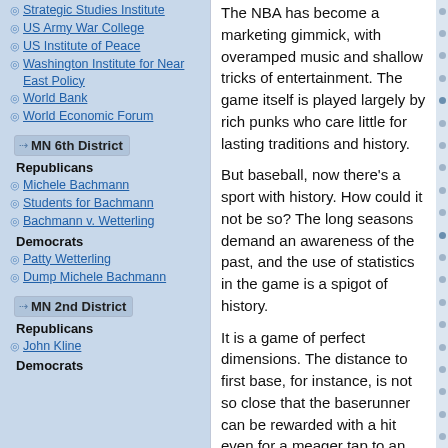Strategic Studies Institute
US Army War College
US Institute of Peace
Washington Institute for Near East Policy
World Bank
World Economic Forum
MN 6th District
Republicans
Michele Bachmann
Students for Bachmann
Bachmann v. Wetterling
Democrats
Patty Wetterling
Dump Michele Bachmann
MN 2nd District
Republicans
John Kline
Democrats
The NBA has become a marketing gimmick, with overamped music and shallow tricks of entertainment. The game itself is played largely by rich punks who care little for lasting traditions and history.
But baseball, now there's a sport with history. How could it not be so? The long seasons demand an awareness of the past, and the use of statistics in the game is a spigot of history.
It is a game of perfect dimensions. The distance to first base, for instance, is not so close that the baserunner can be rewarded with a hit even for a meager tap to an infielder, but it is not so far either that an infielder can be